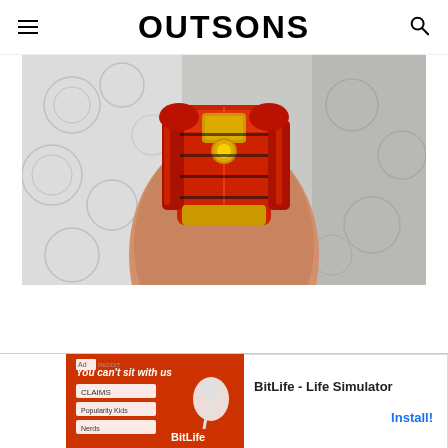OUTSONS
[Figure (photo): Close-up photograph of an arm with a colorful Iron Man tattoo in red and yellow armor design, photographed against a white paper towel background. The tattoo shows detailed armor plating in red and gold colors.]
[Figure (photo): Advertisement banner at bottom of page: BitLife - Life Simulator app ad with orange/red background showing app screenshots and install button]